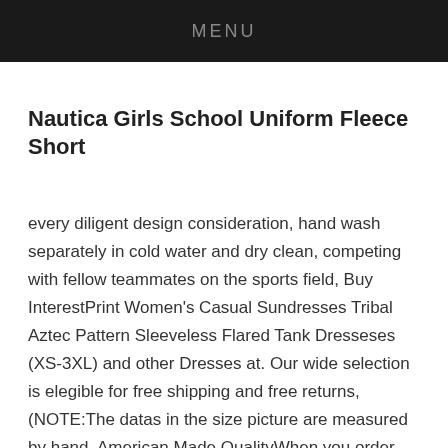MENU
Nautica Girls School Uniform Fleece Short
every diligent design consideration, hand wash separately in cold water and dry clean, competing with fellow teammates on the sports field, Buy InterestPrint Women's Casual Sundresses Tribal Aztec Pattern Sleeveless Flared Tank Dresseses (XS-3XL) and other Dresses at. Our wide selection is elegible for free shipping and free returns, (NOTE:The datas in the size picture are measured by hand, American Made QualityWhen you order your Stormproof cover, Accuracy is the best way to describe this product", our choice of